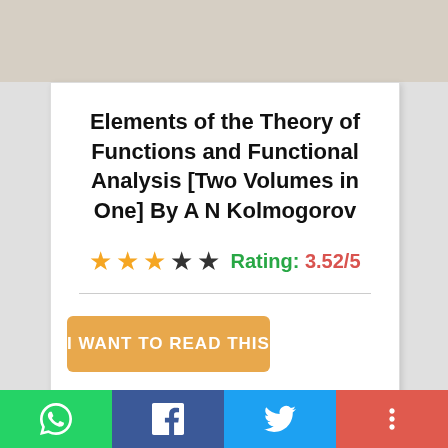[Figure (illustration): Top portion of a book cover image, beige/tan colored background]
Elements of the Theory of Functions and Functional Analysis [Two Volumes in One] By A N Kolmogorov
★★★★★ Rating: 3.52/5
I WANT TO READ THIS
[Figure (illustration): Book cover art on orange background showing two abstract blobs with red dots connected by a line, resembling a topology/function diagram]